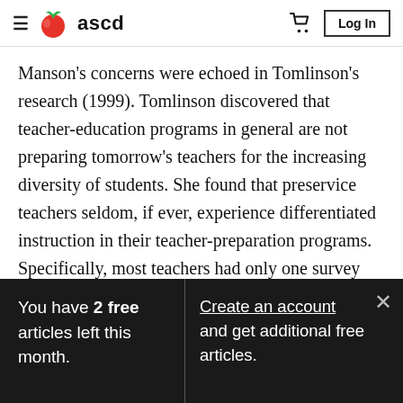ASCD navigation bar with hamburger menu, ASCD logo, cart icon, and Log In button
Manson's concerns were echoed in Tomlinson's research (1999). Tomlinson discovered that teacher-education programs in general are not preparing tomorrow's teachers for the increasing diversity of students. She found that preservice teachers seldom, if ever, experience differentiated instruction in their teacher-preparation programs. Specifically, most teachers had only one survey course focused on
You have 2 free articles left this month.
Create an account and get additional free articles.